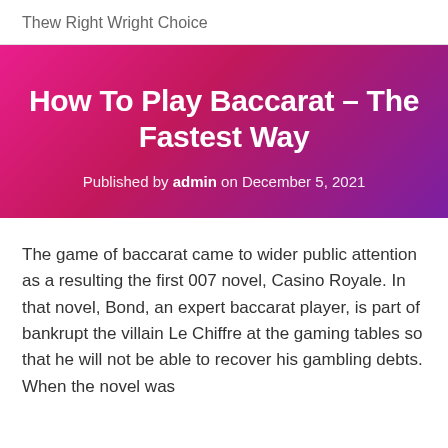Thew Right Wright Choice
How To Play Baccarat – The Fastest Way
Published by admin on December 5, 2021
The game of baccarat came to wider public attention as a resulting the first 007 novel, Casino Royale. In that novel, Bond, an expert baccarat player, is part of bankrupt the villain Le Chiffre at the gaming tables so that he will not be able to recover his gambling debts. When the novel was